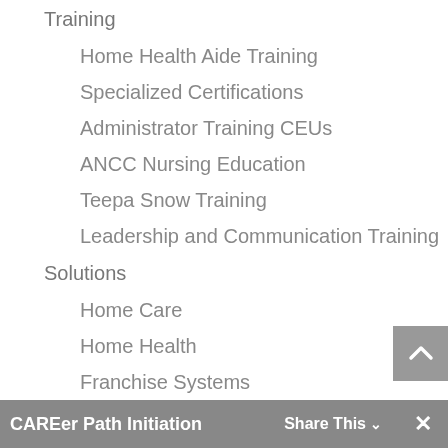Training
Home Health Aide Training
Specialized Certifications
Administrator Training CEUs
ANCC Nursing Education
Teepa Snow Training
Leadership and Communication Training
Solutions
Home Care
Home Health
Franchise Systems
Payors
Product
Pricing
CAREer Path Initiation  Share This  ×